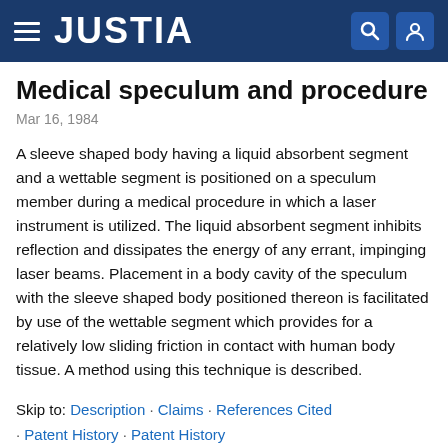JUSTIA
Medical speculum and procedure
Mar 16, 1984
A sleeve shaped body having a liquid absorbent segment and a wettable segment is positioned on a speculum member during a medical procedure in which a laser instrument is utilized. The liquid absorbent segment inhibits reflection and dissipates the energy of any errant, impinging laser beams. Placement in a body cavity of the speculum with the sleeve shaped body positioned thereon is facilitated by use of the wettable segment which provides for a relatively low sliding friction in contact with human body tissue. A method using this technique is described.
Skip to: Description · Claims · References Cited · Patent History · Patent History